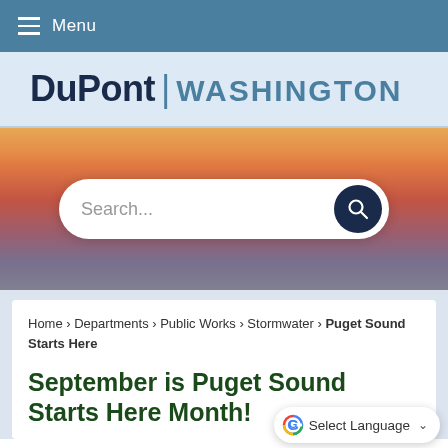Menu
DuPont | WASHINGTON
[Figure (screenshot): Search bar with placeholder text 'Search...' and a dark navy search button with magnifying glass icon, overlaid on a sunset/dusk background image]
Home › Departments › Public Works › Stormwater › Puget Sound Starts Here
September is Puget Sound Starts Here Month!